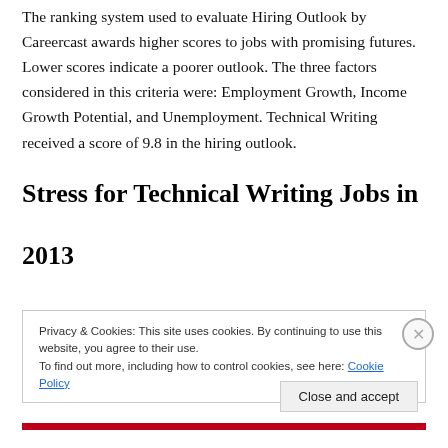The ranking system used to evaluate Hiring Outlook by Careercast awards higher scores to jobs with promising futures. Lower scores indicate a poorer outlook. The three factors considered in this criteria were: Employment Growth, Income Growth Potential, and Unemployment. Technical Writing received a score of 9.8 in the hiring outlook.
Stress for Technical Writing Jobs in 2013
Privacy & Cookies: This site uses cookies. By continuing to use this website, you agree to their use.
To find out more, including how to control cookies, see here: Cookie Policy
Close and accept